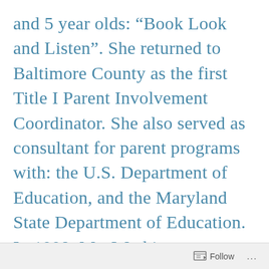and 5 year olds: “Book Look and Listen”. She returned to Baltimore County as the first Title I Parent Involvement Coordinator. She also served as consultant for parent programs with: the U.S. Department of Education, and the Maryland State Department of Education. In 1998, Ms. Washington was appointed by President William J. Clinton, to the White House Initiative on Historically Black Colleges and Universities. She has served with
Follow